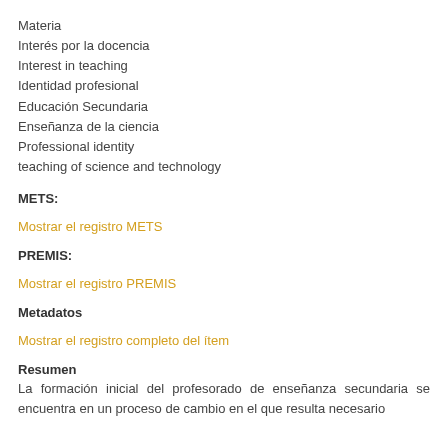Materia
Interés por la docencia
Interest in teaching
Identidad profesional
Educación Secundaria
Enseñanza de la ciencia
Professional identity
teaching of science and technology
METS:
Mostrar el registro METS
PREMIS:
Mostrar el registro PREMIS
Metadatos
Mostrar el registro completo del ítem
Resumen
La formación inicial del profesorado de enseñanza secundaria se encuentra en un proceso de cambio en el que resulta necesario